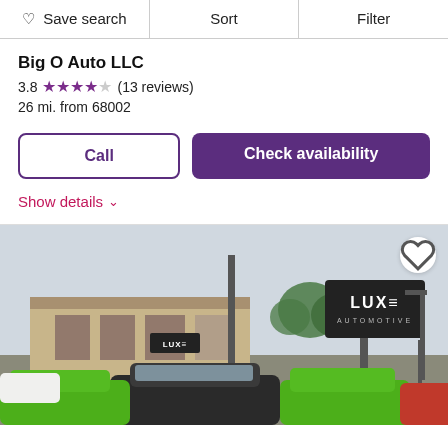Save search  Sort  Filter
Big O Auto LLC
3.8 ★★★★☆ (13 reviews)
26 mi. from 68002
Call  Check availability
Show details
[Figure (photo): Exterior photo of Luxe Automotive dealership showing a parking lot with multiple cars including green and black muscle cars, a building with a 'Luxe' sign, and a large billboard sign reading 'Luxe Automotive']